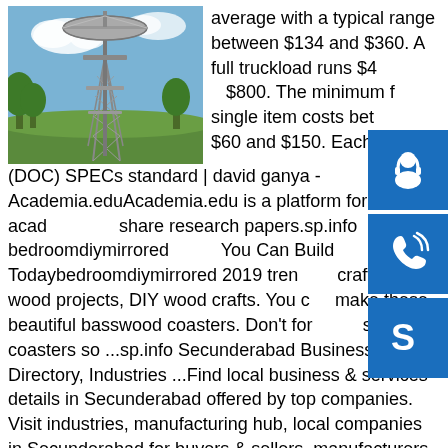[Figure (photo): A tall lattice tower structure (likely a Tesla tower or observation tower) standing in an outdoor setting with trees and blue sky in the background.]
average with a typical range between $134 and $360. A full truckload runs $400 to $800. The minimum for a single item costs between $60 and $150. Each...
(DOC) SPECs standard | david ganya - Academia.eduAcademia.edu is a platform for academics to share research papers.sp.info bedroomdiymirrored What You Can Build Todaybedroomdiymirrored 2019 trending craft trends, wood projects, DIY wood crafts. You can make these beautiful basswood coasters. Don't forget to seal the coasters so ...sp.info Secunderabad Business Directory, Industries ...Find local business & services details in Secunderabad offered by top companies. Visit industries, manufacturing hub, local companies in Secunderabad for buyers & sellers, manufacturers, suppliers, dealers, exporters at one place.Some results are removed in response to a notice of local law requirement